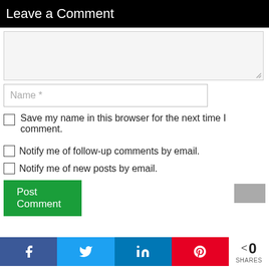Leave a Comment
(comment textarea — empty)
Name *
Save my name in this browser for the next time I comment.
Notify me of follow-up comments by email.
Notify me of new posts by email.
Post Comment
< 0 SHARES